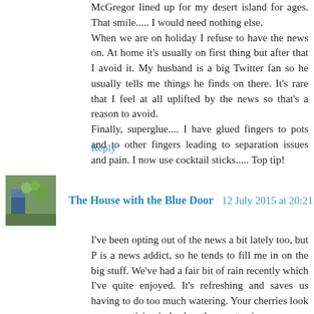McGregor lined up for my desert island for ages. That smile..... I would need nothing else.
When we are on holiday I refuse to have the news on. At home it's usually on first thing but after that I avoid it. My husband is a big Twitter fan so he usually tells me things he finds on there. It's rare that I feel at all uplifted by the news so that's a reason to avoid.
Finally, superglue.... I have glued fingers to pots and to other fingers leading to separation issues and pain. I now use cocktail sticks..... Top tip!
Reply
The House with the Blue Door  12 July 2015 at 20:21
I've been opting out of the news a bit lately too, but P is a news addict, so he tends to fill me in on the big stuff. We've had a fair bit of rain recently which I've quite enjoyed. It's refreshing and saves us having to do too much watering. Your cherries look very appetising indeed, and so pretty :)
Cathy x
Reply